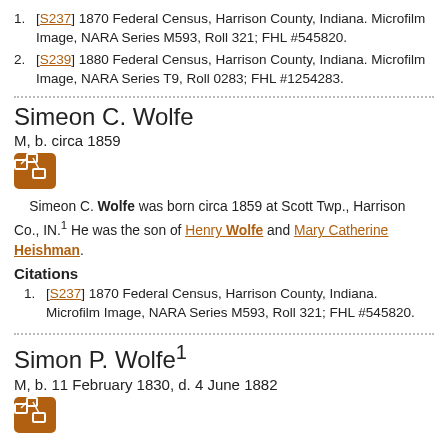[S237] 1870 Federal Census, Harrison County, Indiana. Microfilm Image, NARA Series M593, Roll 321; FHL #545820.
[S239] 1880 Federal Census, Harrison County, Indiana. Microfilm Image, NARA Series T9, Roll 0283; FHL #1254283.
Simeon C. Wolfe
M, b. circa 1859
Simeon C. Wolfe was born circa 1859 at Scott Twp., Harrison Co., IN.1 He was the son of Henry Wolfe and Mary Catherine Heishman.
Citations
[S237] 1870 Federal Census, Harrison County, Indiana. Microfilm Image, NARA Series M593, Roll 321; FHL #545820.
Simon P. Wolfe
M, b. 11 February 1830, d. 4 June 1882